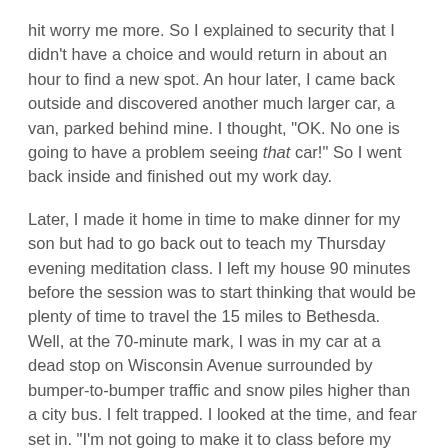hit worry me more. So I explained to security that I didn't have a choice and would return in about an hour to find a new spot. An hour later, I came back outside and discovered another much larger car, a van, parked behind mine. I thought, "OK. No one is going to have a problem seeing that car!" So I went back inside and finished out my work day.
Later, I made it home in time to make dinner for my son but had to go back out to teach my Thursday evening meditation class. I left my house 90 minutes before the session was to start thinking that would be plenty of time to travel the 15 miles to Bethesda. Well, at the 70-minute mark, I was in my car at a dead stop on Wisconsin Avenue surrounded by bumper-to-bumper traffic and snow piles higher than a city bus. I felt trapped. I looked at the time, and fear set in. "I'm not going to make it to class before my clients." More anxiety washed over me, and I sensed panic bubbling beneath the surface. My body started getting warmer and warmer. I took off my coat, turned down the heat and paused. I shifted my